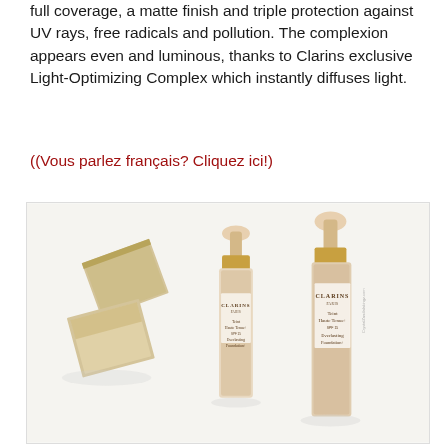full coverage, a matte finish and triple protection against UV rays, free radicals and pollution. The complexion appears even and luminous, thanks to Clarins exclusive Light-Optimizing Complex which instantly diffuses light.
(Vous parlez français? Cliquez ici!)
[Figure (photo): Product photo of two Clarins Teint Haute Tenue+ Everlasting Foundation+ SPF 15 bottles in nude/beige tones with gold pump tops, alongside two gold packaging boxes, arranged on a white background.]